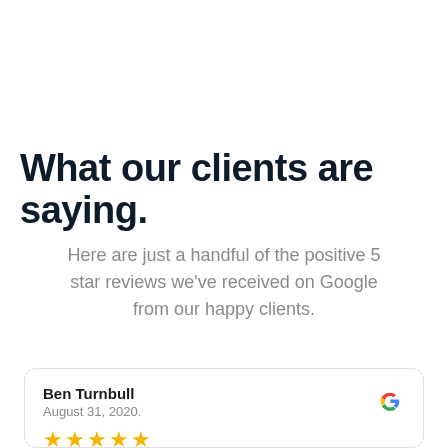What our clients are saying.
Here are just a handful of the positive 5 star reviews we've received on Google from our happy clients.
Ben Turnbull
August 31, 2020.
★★★★★
Very professional and on time. Good eye for detail